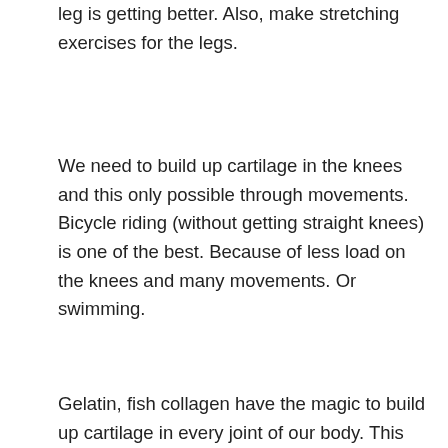leg is getting better. Also, make stretching exercises for the legs.
We need to build up cartilage in the knees and this only possible through movements. Bicycle riding (without getting straight knees) is one of the best. Because of less load on the knees and many movements. Or swimming.
Gelatin, fish collagen have the magic to build up cartilage in every joint of our body. This means body exercise for that cartilage and eating 6 sheets of Gelatin a day (or Gelatin for a half liter) for at least 3 months…
Don't eat acid food, like meat, ketchup, because it will